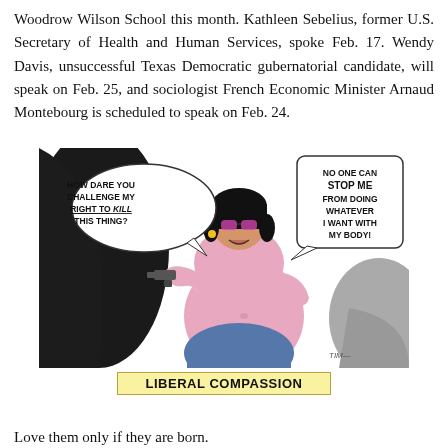Woodrow Wilson School this month. Kathleen Sebelius, former U.S. Secretary of Health and Human Services, spoke Feb. 17. Wendy Davis, unsuccessful Texas Democratic gubernatorial candidate, will speak on Feb. 25, and sociologist French Economic Minister Arnaud Montebourg is scheduled to speak on Feb. 24.
[Figure (illustration): Political cartoon showing a pregnant woman with sunglasses and a gun pointed at her belly. Speech bubble on left says 'HOW DARE YOU CHALLENGE MY RIGHT TO KILL THIS THING!' Speech bubble on right says 'NO ONE CAN STOP ME FROM DOING WHATEVER I WANT WITH MY BODY!' Caption below reads 'LIBERAL COMPASSION'.]
LIBERAL COMPASSION
Love them only if they are born.